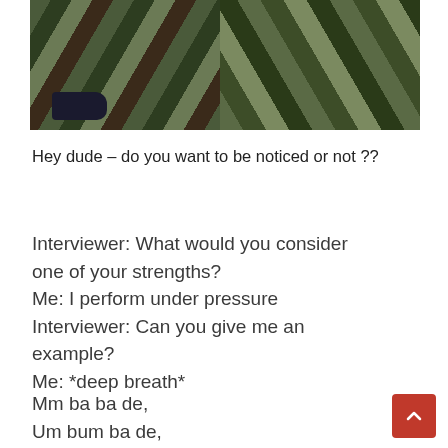[Figure (photo): Photo of person's legs wearing camouflage military pants and dark sneakers, walking on pavement]
Hey dude – do you want to be noticed or not ??
Interviewer: What would you consider one of your strengths?
Me: I perform under pressure
Interviewer: Can you give me an example?
Me: *deep breath*
Mm ba ba de,
Um bum ba de,